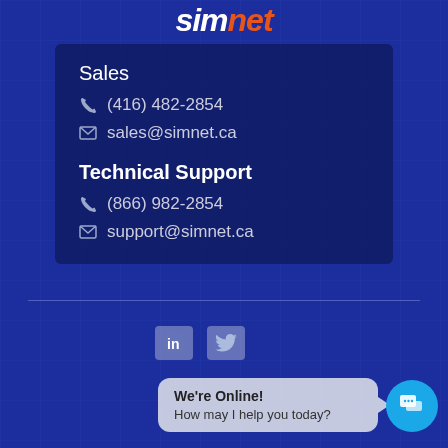simnet
Sales
(416) 482-2854
sales@simnet.ca
Technical Support
(866) 982-2854
support@simnet.ca
We're Online! How may I help you today?